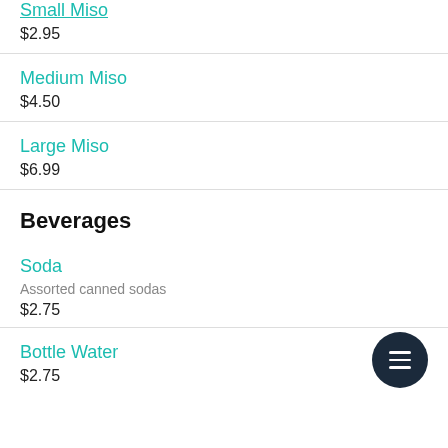Small Miso
$2.95
Medium Miso
$4.50
Large Miso
$6.99
Beverages
Soda
Assorted canned sodas
$2.75
Bottle Water
$2.75